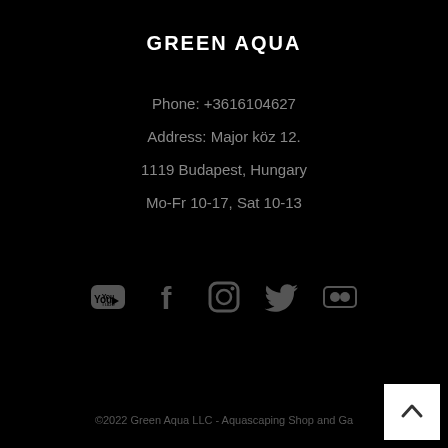GREEN AQUA
Phone:  +3616104627
Address: Major köz 12.
1119 Budapest, Hungary
Mo-Fr 10-17, Sat 10-13
[Figure (infographic): Social media icons row: YouTube, Facebook, Instagram, Twitter, Flickr]
©2022 Green Aqua LLC - Aquascaping Shop and Ga